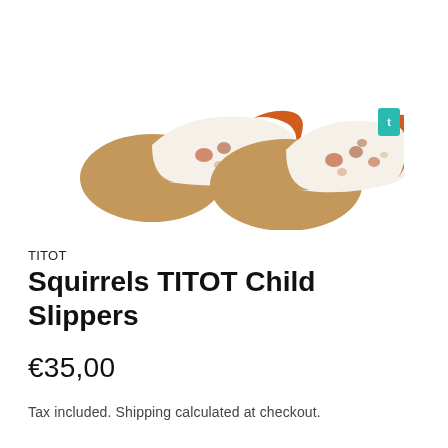[Figure (photo): A pair of baby/child slippers with squirrel pattern fabric on the upper (cream/white with orange and brown squirrel illustrations), orange fabric cuff/collar, and tan/camel suede toe and heel caps. The slippers are photographed on a white background.]
TITOT
Squirrels TITOT Child Slippers
€35,00
Tax included. Shipping calculated at checkout.